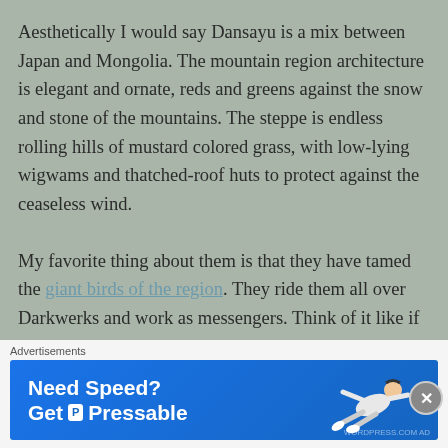Aesthetically I would say Dansayu is a mix between Japan and Mongolia. The mountain region architecture is elegant and ornate, reds and greens against the snow and stone of the mountains. The steppe is endless rolling hills of mustard colored grass, with low-lying wigwams and thatched-roof huts to protect against the ceaseless wind.
My favorite thing about them is that they have tamed the giant birds of the region. They ride them all over Darkwerks and work as messengers. Think of it like if pigeons and crows as message carriers were replaced by actual people riding birds; you can send a lot more messages and larger packages faster and
Advertisements
[Figure (other): Advertisement banner: 'Need Speed? Get Pressable' on a blue background with a figure of a person flying/running.]